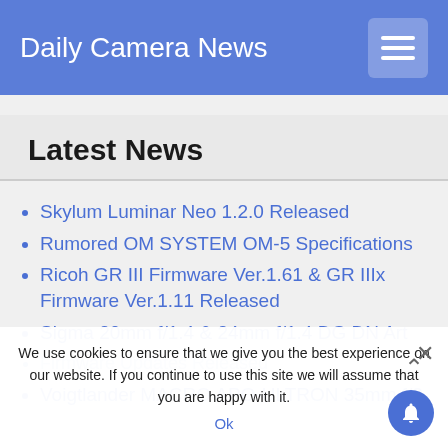Daily Camera News
Latest News
Skylum Luminar Neo 1.2.0 Released
Rumored OM SYSTEM OM-5 Specifications
Ricoh GR III Firmware Ver.1.61 & GR IIIx Firmware Ver.1.11 Released
Sigma 20mm f/1.4 & 24mm f/1.4 DG DN Art Announced (partially obscured)
Firmware Updates Released
Voigtlander MACRO APO-ULTRON 35mm f/2 (partially obscured)
We use cookies to ensure that we give you the best experience on our website. If you continue to use this site we will assume that you are happy with it.
Ok